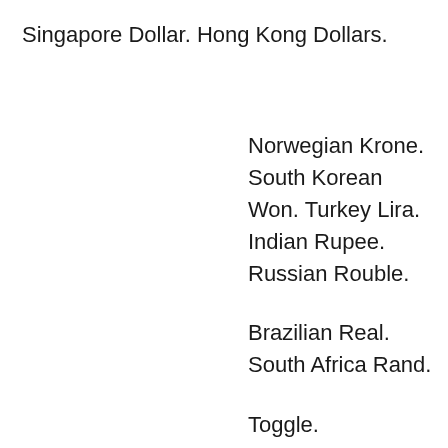Singapore Dollar. Hong Kong Dollars.
Norwegian Krone. South Korean Won. Turkey Lira. Indian Rupee. Russian Rouble.
Brazilian Real. South Africa Rand.
Toggle.
  English Language.
Personal